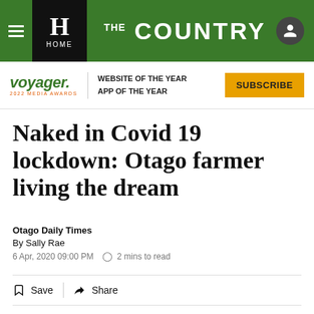THE COUNTRY — NZ Herald Home
[Figure (logo): Voyager 2022 Media Awards logo with WEBSITE OF THE YEAR and APP OF THE YEAR text, and SUBSCRIBE button]
Naked in Covid 19 lockdown: Otago farmer living the dream
Otago Daily Times
By Sally Rae
6 Apr, 2020 09:00 PM  2 mins to read
Save  Share